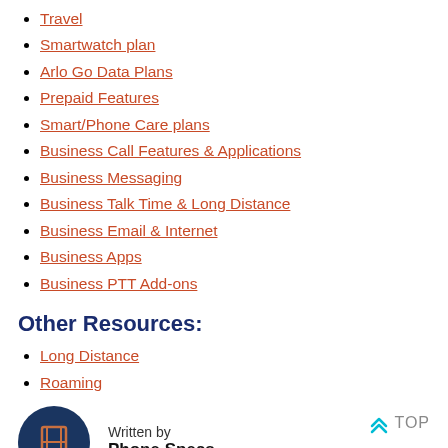Travel
Smartwatch plan
Arlo Go Data Plans
Prepaid Features
Smart/Phone Care plans
Business Call Features & Applications
Business Messaging
Business Talk Time & Long Distance
Business Email & Internet
Business Apps
Business PTT Add-ons
Other Resources:
Long Distance
Roaming
Written by Phone Specs